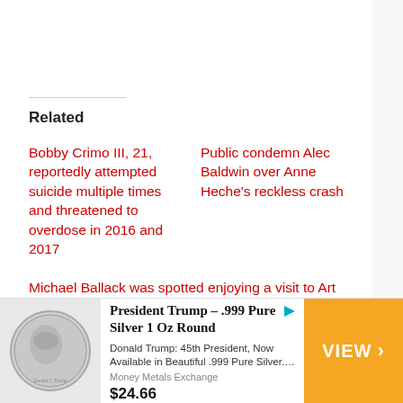Related
Bobby Crimo III, 21, reportedly attempted suicide multiple times and threatened to overdose in 2016 and 2017
Public condemn Alec Baldwin over Anne Heche's reckless crash
Michael Ballack was spotted enjoying a visit to Art Basel in
[Figure (other): Advertisement banner showing a Donald Trump .999 Pure Silver 1 Oz Round coin, with product title, description from Donald Trump: 45th President, Now Available in Beautiful .999 Pure Silver…, sold by Money Metals Exchange for $24.66, with an orange VIEW button on the right.]